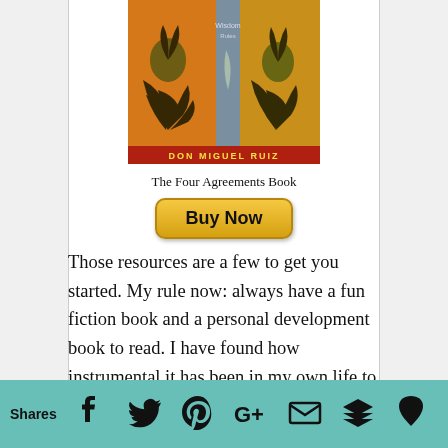[Figure (illustration): Book cover of 'The Four Agreements' by Don Miguel Ruiz, showing decorative plant/leaf artwork in orange, yellow and green tones with the author's name at the bottom.]
The Four Agreements Book
[Figure (other): Yellow 'Buy Now' button with rounded corners]
Those resources are a few to get you started. My rule now: always have a fun fiction book and a personal development book to read. I have found how instrumental it has been in my own life to create that work/life/play balance. In my own personal wellness journey I have found simple practices like mindfulness,
Shares | Facebook | Twitter | Pinterest | Google+ | Email | Buffer | Feedly